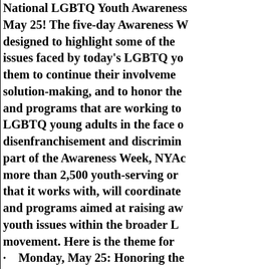National LGBTQ Youth Awareness Week May 21 through May 25! The five-day Awareness Week is designed to highlight some of the issues faced by today's LGBTQ youth, encourage them to continue their involvement in solution-making, and to honor the organizations and programs that are working to empower LGBTQ young adults in the face of disenfranchisement and discrimination. As part of the Awareness Week, NYAC and more than 2,500 youth-serving organizations that it works with, will coordinate activities and programs aimed at raising awareness of youth issues within the broader LGBTQ movement. Here is the theme for each day:
Monday, May 25: Honoring the Service of LGBTQ Youth Serving in the Military
Tuesday, May 26: Putting An End to Violence Aimed at LGBTQ Youth
Wednesday, May 27: Addressing LGBTQ Youth Homelessness